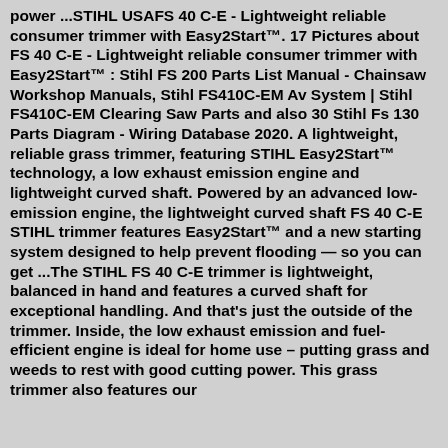power ...STIHL USAFS 40 C-E - Lightweight reliable consumer trimmer with Easy2Start™. 17 Pictures about FS 40 C-E - Lightweight reliable consumer trimmer with Easy2Start™ : Stihl FS 200 Parts List Manual - Chainsaw Workshop Manuals, Stihl FS410C-EM Av System | Stihl FS410C-EM Clearing Saw Parts and also 30 Stihl Fs 130 Parts Diagram - Wiring Database 2020. A lightweight, reliable grass trimmer, featuring STIHL Easy2Start™ technology, a low exhaust emission engine and lightweight curved shaft. Powered by an advanced low-emission engine, the lightweight curved shaft FS 40 C-E STIHL trimmer features Easy2Start™ and a new starting system designed to help prevent flooding — so you can get ...The STIHL FS 40 C-E trimmer is lightweight, balanced in hand and features a curved shaft for exceptional handling. And that's just the outside of the trimmer. Inside, the low exhaust emission and fuel-efficient engine is ideal for home use – putting grass and weeds to rest with good cutting power. This grass trimmer also features our